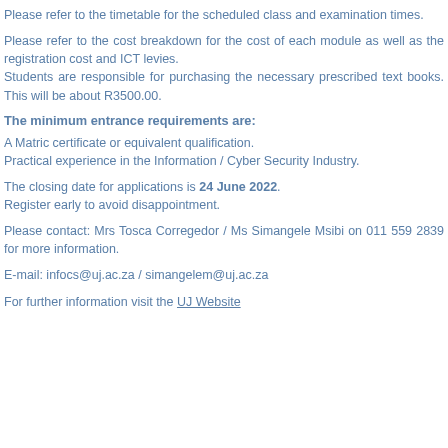Please refer to the timetable for the scheduled class and examination times.
Please refer to the cost breakdown for the cost of each module as well as the registration cost and ICT levies. Students are responsible for purchasing the necessary prescribed text books. This will be about R3500.00.
The minimum entrance requirements are:
A Matric certificate or equivalent qualification. Practical experience in the Information / Cyber Security Industry.
The closing date for applications is 24 June 2022. Register early to avoid disappointment.
Please contact: Mrs Tosca Corregedor / Ms Simangele Msibi on 011 559 2839 for more information.
E-mail: infocs@uj.ac.za / simangelem@uj.ac.za
For further information visit the UJ Website